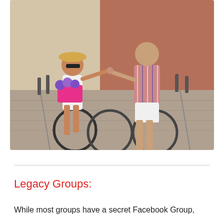[Figure (photo): A smiling couple riding bicycles on a cobblestone street. The woman on the left wears sunglasses and a straw hat, riding a bike with a colorful basket of flowers. The man on the right wears a plaid shirt and white shorts. They are holding hands while riding. A brick building is visible in the background.]
Legacy Groups:
While most groups have a secret Facebook Group,